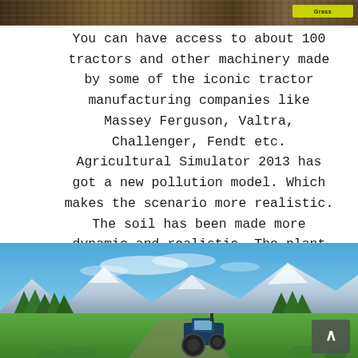[Figure (photo): A photo of a tractor near a wooden barn or shed, showing agricultural machinery in a farm setting. A yellow-green button or badge is visible in the top-right corner.]
You can have access to about 100 tractors and other machinery made by some of the iconic tractor manufacturing companies like Massey Ferguson, Valtra, Challenger, Fendt etc. Agricultural Simulator 2013 has got a new pollution model. Which makes the scenario more realistic. The soil has been made more dynamic and realistic. The plant species are also depicted in such a way that they look realistic. You can also download Professional Lumberjack PC Game 2015.
[Figure (screenshot): A screenshot from a farming simulator video game showing a blue tractor in a green landscape with mountains and blue sky in the background. A dark scroll-to-top button with an upward arrow is visible in the bottom-right corner.]